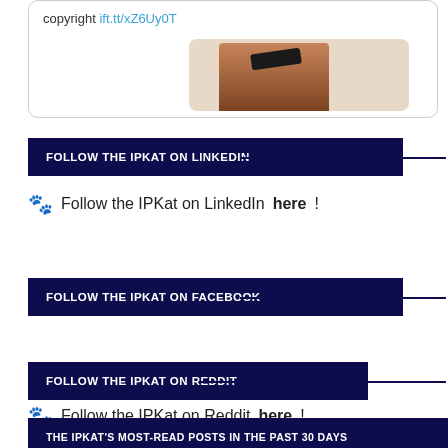[Figure (screenshot): Partial card showing 'copyright ift.tt/xZ6Uy0T' link and a partial image of a cat or animal with a dark object on its back]
FOLLOW THE IPKAT ON LINKEDIN
🐾 Follow the IPKat on LinkedIn here!
FOLLOW THE IPKAT ON FACEBOOK
FOLLOW THE IPKAT ON REDDIT
🐾 Follow the IPKat on Reddit here!
THE IPKAT'S MOST-READ POSTS IN THE PAST 30 DAYS